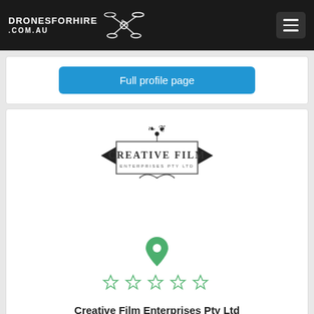DRONESFORHIRE .COM.AU
Full profile page
[Figure (logo): Creative Film Enterprises Pty Ltd logo — ornate rectangular border with decorative scrollwork, triangle shapes on left and right, text reading CREATIVE FILM ENTERPRISES PTY LTD]
[Figure (illustration): Green map pin / location marker icon]
[Figure (illustration): Five empty/outline star rating icons in green]
Creative Film Enterprises Pty Ltd
Contact name: Darke